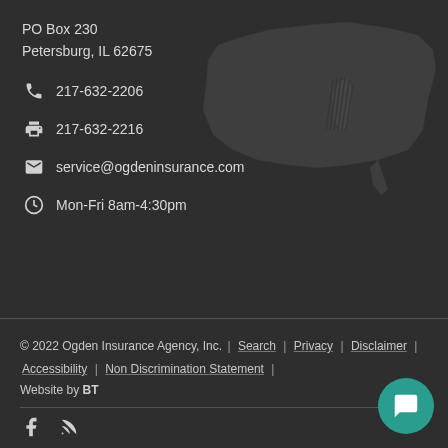PO Box 230
Petersburg, IL 62675
217-632-2206
217-632-2216
service@ogdeninsurance.com
Mon-Fri 8am-4:30pm
[Figure (map): Faded US map background with Illinois highlighted in a hatched pattern]
© 2022 Ogden Insurance Agency, Inc. | Search | Privacy | Disclaimer | Accessibility | Non Discrimination Statement | Website by BT
[Figure (other): Facebook and RSS feed icons, teal chat bubble button]